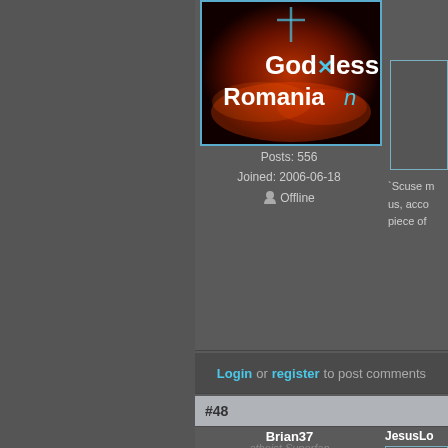[Figure (illustration): User avatar image showing 'God Bless Romania' text overlay on a dark orange/red background with a cross symbol]
Posts: 556
Joined: 2006-06-18
Offline
'Scuse m us, acco piece of
Inquisitio on..." http://rig
Login or register to post comments
#48
Brian37
atheist Superfan
JesusLo
[Figure (illustration): Book cover image for 'Little Book of ABBA']